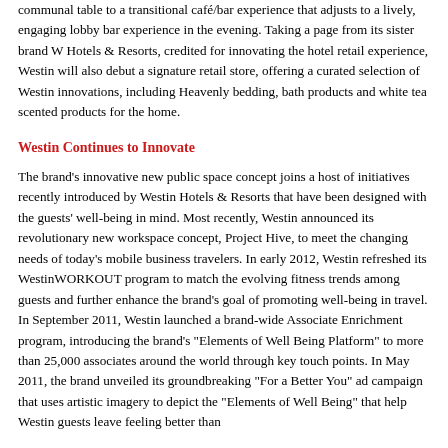communal table to a transitional café/bar experience that adjusts to a lively, engaging lobby bar experience in the evening. Taking a page from its sister brand W Hotels & Resorts, credited for innovating the hotel retail experience, Westin will also debut a signature retail store, offering a curated selection of Westin innovations, including Heavenly bedding, bath products and white tea scented products for the home.
Westin Continues to Innovate
The brand's innovative new public space concept joins a host of initiatives recently introduced by Westin Hotels & Resorts that have been designed with the guests' well-being in mind. Most recently, Westin announced its revolutionary new workspace concept, Project Hive, to meet the changing needs of today's mobile business travelers. In early 2012, Westin refreshed its WestinWORKOUT program to match the evolving fitness trends among guests and further enhance the brand's goal of promoting well-being in travel. In September 2011, Westin launched a brand-wide Associate Enrichment program, introducing the brand's "Elements of Well Being Platform" to more than 25,000 associates around the world through key touch points. In May 2011, the brand unveiled its groundbreaking "For a Better You" ad campaign that uses artistic imagery to depict the "Elements of Well Being" that help Westin guests leave feeling better than